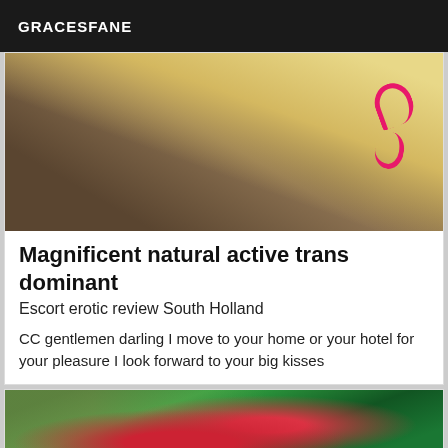GRACESFANE
[Figure (photo): Close-up photo showing fabric and dark rounded surface with pink graffiti-style markings]
Magnificent natural active trans dominant
Escort erotic review South Holland
CC gentlemen darling I move to your home or your hotel for your pleasure I look forward to your big kisses
[Figure (photo): Person wearing red outfit outdoors among green palm leaves]